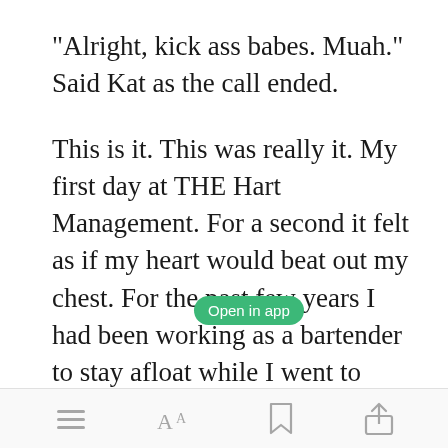"Alright, kick ass babes. Muah." Said Kat as the call ended.
This is it. This was really it. My first day at THE Hart Management. For a second it felt as if my heart would beat out my chest. For the past few years I had been working as a bartender to stay afloat while I went to college. But now. I'm a business woman. I don't have time to be
[Figure (screenshot): Mobile reading app bottom toolbar with menu, font size, bookmark, and share icons. An 'Open in app' green button overlay is visible.]